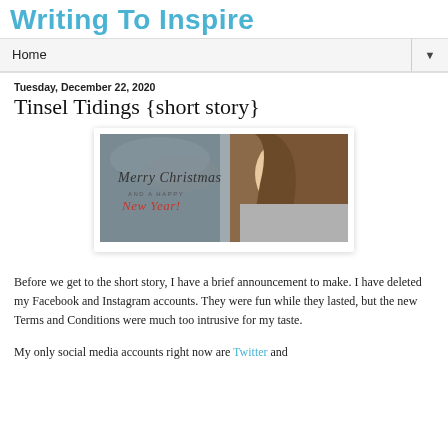Writing To Inspire
Home ▼
Tuesday, December 22, 2020
Tinsel Tidings {short story}
[Figure (photo): A young woman smiling with her hands near her face, wearing a grey knitted sweater, with text overlay reading 'Merry Christmas AND A HAPPY New Year!' on a grey winter background.]
Before we get to the short story, I have a brief announcement to make. I have deleted my Facebook and Instagram accounts. They were fun while they lasted, but the new Terms and Conditions were much too intrusive for my taste.
My only social media accounts right now are Twitter and